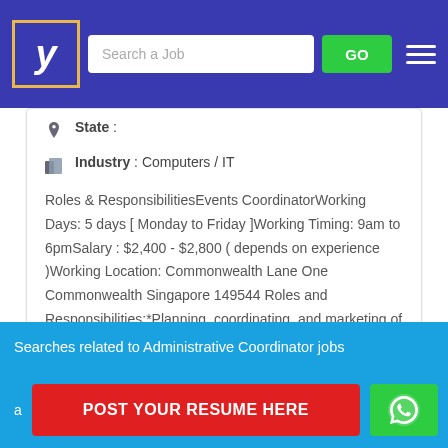Job search website header with logo, Search a Job field, GO button, and hamburger menu
State :
Industry : Computers / IT
Roles & ResponsibilitiesEvents CoordinatorWorking Days: 5 days [ Monday to Friday ]Working Timing: 9am to 6pmSalary : $2,400 - $2,800 ( depends on experience )Working Location: Commonwealth Lane One Commonwealth Singapore 149544 Roles and Responsibilities:*Planning, coordinating, and marketing of events...
Searches related to Administrative Coordinator jobs
POST YOUR RESUME HERE